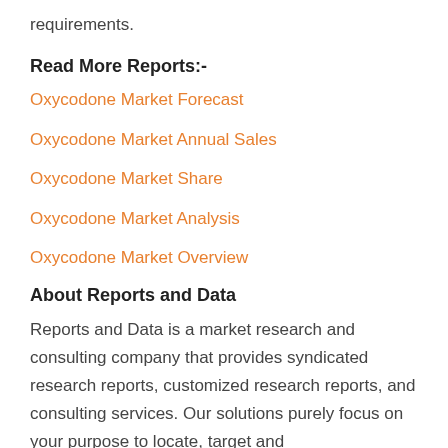requirements.
Read More Reports:-
Oxycodone Market Forecast
Oxycodone Market Annual Sales
Oxycodone Market Share
Oxycodone Market Analysis
Oxycodone Market Overview
About Reports and Data
Reports and Data is a market research and consulting company that provides syndicated research reports, customized research reports, and consulting services. Our solutions purely focus on your purpose to locate, target and